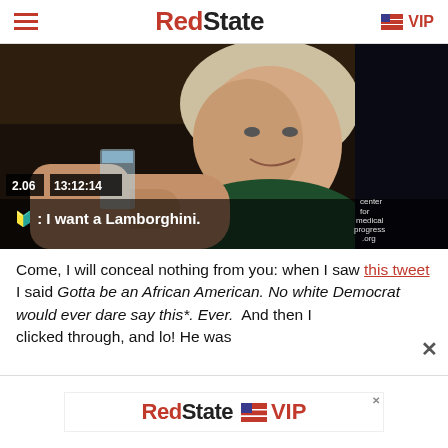RedState VIP
[Figure (screenshot): Video screenshot of an elderly woman sitting at a restaurant/bar setting, with subtitle text overlaid: ': I want a Lamborghini.' Timestamp shows 2.06 and 13:12:14. Center for Medical Progress watermark visible.]
Come, I will conceal nothing from you: when I saw this tweet I said Gotta be an African American. No white Democrat would ever dare say this*. Ever. And then I clicked through, and lo! He was
[Figure (logo): RedState VIP advertisement banner]